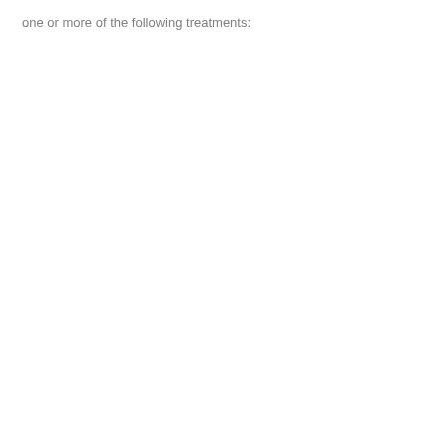one or more of the following treatments: